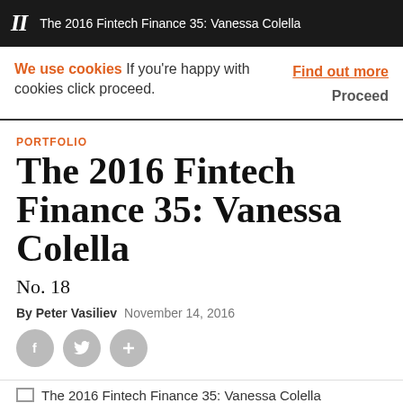II  The 2016 Fintech Finance 35: Vanessa Colella
We use cookies  If you're happy with cookies click proceed.  Find out more  Proceed
PORTFOLIO
The 2016 Fintech Finance 35: Vanessa Colella
No. 18
By Peter Vasiliev  November 14, 2016
[Figure (illustration): Social sharing buttons: Facebook, Twitter, and plus/share icon]
[Figure (photo): The 2016 Fintech Finance 35: Vanessa Colella article image placeholder]
The 2016 Fintech Finance 35: Vanessa Colella